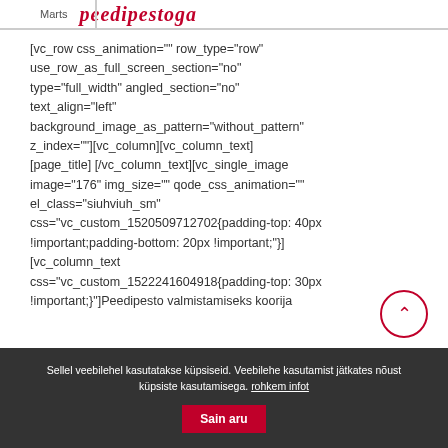Marts | peedipestoga
[vc_row css_animation="" row_type="row" use_row_as_full_screen_section="no" type="full_width" angled_section="no" text_align="left" background_image_as_pattern="without_pattern" z_index=""][vc_column][vc_column_text] [page_title] [/vc_column_text][vc_single_image image="176" img_size="" qode_css_animation="" el_class="siuhviuh_sm" css="vc_custom_1520509712702{padding-top: 40px !important;padding-bottom: 20px !important;"} [vc_column_text css="vc_custom_1522241604918{padding-top: 30px !important;}"]Peedipesto valmistamiseks koorija
Sellel veebilehel kasutatakse küpsiseid. Veebilehe kasutamist jätkates nõustute küpsiste kasutamisega. rohkem infot
Sain aru